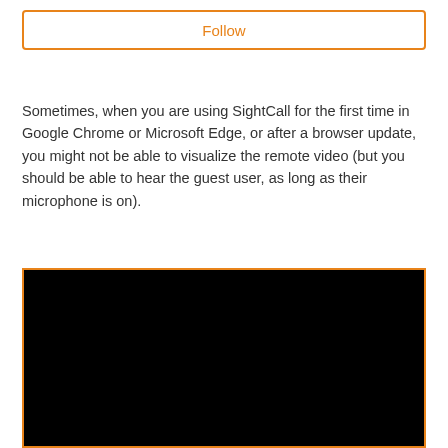Follow
Sometimes, when you are using SightCall for the first time in Google Chrome or Microsoft Edge, or after a browser update, you might not be able to visualize the remote video (but you should be able to hear the guest user, as long as their microphone is on).
[Figure (screenshot): A black video player window with an orange border.]